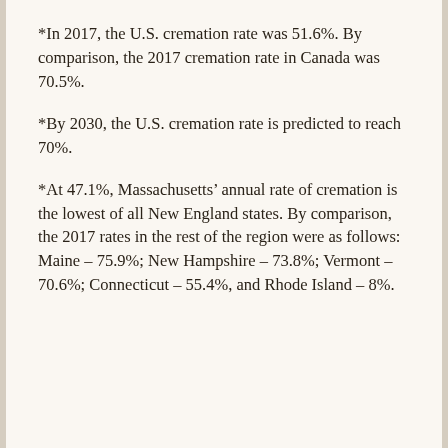*In 2017, the U.S. cremation rate was 51.6%. By comparison, the 2017 cremation rate in Canada was 70.5%.
*By 2030, the U.S. cremation rate is predicted to reach 70%.
*At 47.1%, Massachusetts’ annual rate of cremation is the lowest of all New England states. By comparison, the 2017 rates in the rest of the region were as follows: Maine – 75.9%; New Hampshire – 73.8%; Vermont – 70.6%; Connecticut – 55.4%, and Rhode Island – 8%.